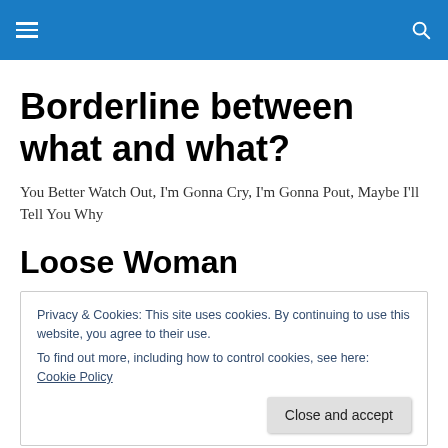Borderline between what and what?
You Better Watch Out, I'm Gonna Cry, I'm Gonna Pout, Maybe I'll Tell You Why
Loose Woman
Privacy & Cookies: This site uses cookies. By continuing to use this website, you agree to their use.
To find out more, including how to control cookies, see here: Cookie Policy
They say I'm a bitch